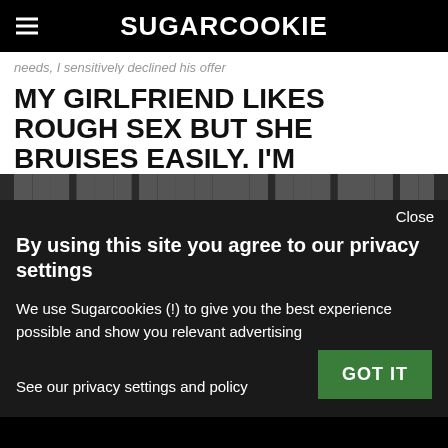SUGARCOOKIE
needs, I sensitively declined his offer
MY GIRLFRIEND LIKES ROUGH SEX BUT SHE BRUISES EASILY. I'M
Close
By using this site you agree to our privacy settings
We use Sugarcookies (!) to give you the best experience possible and show you relevant advertising
See our privacy settings and policy
GOT IT